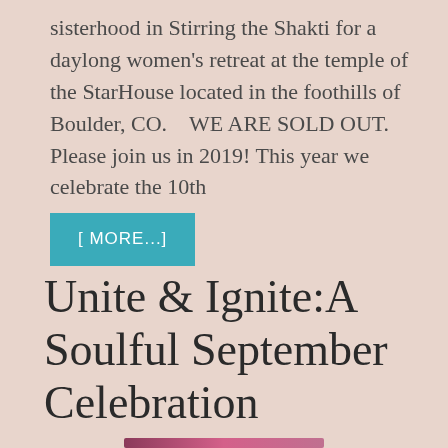sisterhood in Stirring the Shakti for a daylong women's retreat at the temple of the StarHouse located in the foothills of Boulder, CO.    WE ARE SOLD OUT. Please join us in 2019! This year we celebrate the 10th
[ MORE...]
Unite & Ignite:A Soulful September Celebration